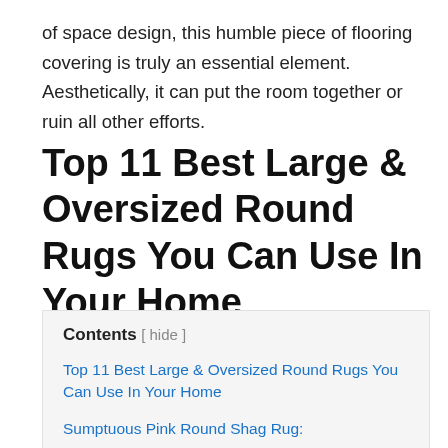of space design, this humble piece of flooring covering is truly an essential element. Aesthetically, it can put the room together or ruin all other efforts.
Top 11 Best Large & Oversized Round Rugs You Can Use In Your Home
Contents [ hide ]
Top 11 Best Large & Oversized Round Rugs You Can Use In Your Home
Sumptuous Pink Round Shag Rug:
8 Feet Round Burgundy Rug: